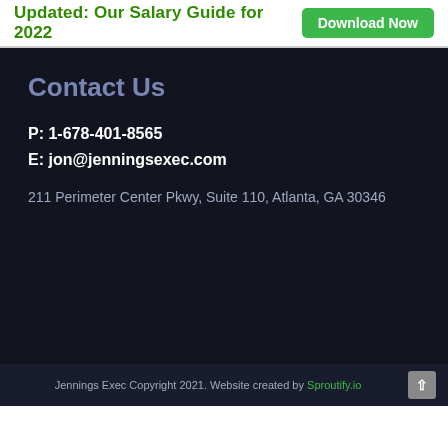Updated: Our Salary Guide for 2022  Download Now
Contact Us
P: 1-678-401-8565
E: jon@jenningsexec.com
211 Perimeter Center Pkwy, Suite 110, Atlanta, GA 30346
Jennings Exec Copyright 2021. Website created by Sproutify.io